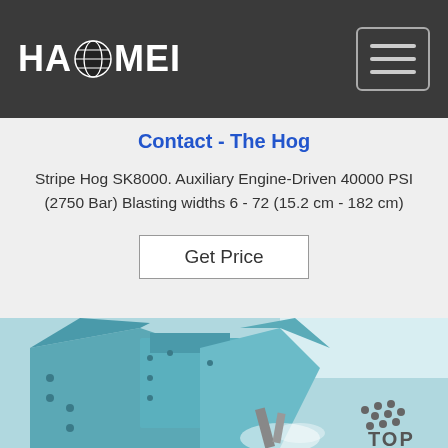HAOMEI
Contact - The Hog
Stripe Hog SK8000. Auxiliary Engine-Driven 40000 PSI (2750 Bar) Blasting widths 6 - 72 (15.2 cm - 182 cm)
Get Price
[Figure (photo): Blue industrial machine (Stripe Hog SK8000) waterblasting equipment, shown in close-up with mechanical components visible]